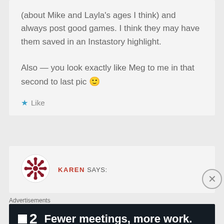(about Mike and Layla's ages I think) and always post good games. I think they may have them saved in an Instastory highlight.

Also — you look exactly like Meg to me in that second to last pic 🙂
★ Like
KAREN SAYS:
Advertisements
■2  Fewer meetings, more work.